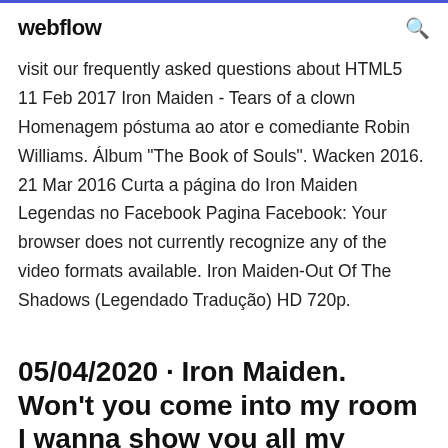webflow
visit our frequently asked questions about HTML5  11 Feb 2017 Iron Maiden - Tears of a clown Homenagem póstuma ao ator e comediante Robin Williams. Álbum "The Book of Souls". Wacken 2016. 21 Mar 2016 Curta a página do Iron Maiden Legendas no Facebook Pagina Facebook: Your browser does not currently recognize any of the video formats available. Iron Maiden-Out Of The Shadows (Legendado Tradução) HD 720p.
05/04/2020 · Iron Maiden. Won't you come into my room I wanna show you all my moves I just want